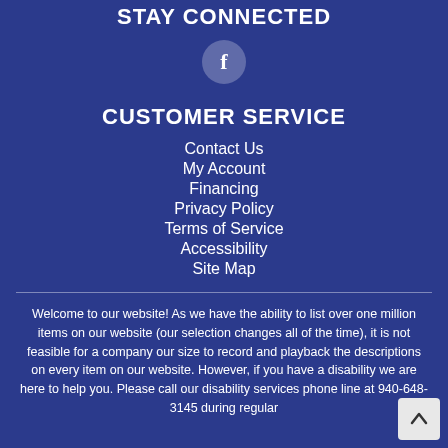STAY CONNECTED
[Figure (illustration): Facebook icon — circular gray-tinted background with white lowercase 'f' letter]
CUSTOMER SERVICE
Contact Us
My Account
Financing
Privacy Policy
Terms of Service
Accessibility
Site Map
Welcome to our website! As we have the ability to list over one million items on our website (our selection changes all of the time), it is not feasible for a company our size to record and playback the descriptions on every item on our website. However, if you have a disability we are here to help you. Please call our disability services phone line at 940-648-3145 during regular